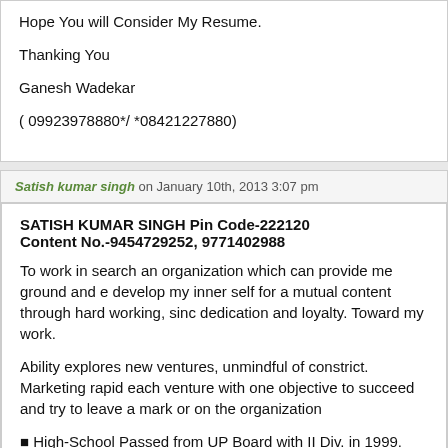Hope You will Consider My Resume.
Thanking You
Ganesh Wadekar
( 09923978880*/ *08421227880)
Satish kumar singh on January 10th, 2013 3:07 pm
SATISH KUMAR SINGH Pin Code-222120
Content No.-9454729252, 9771402988
To work in search an organization which can provide me ground and e develop my inner self for a mutual content through hard working, sinc dedication and loyalty. Toward my work.
Ability explores new ventures, unmindful of constrict. Marketing rapid each venture with one objective to succeed and try to leave a mark or on the organization
High-School Passed from UP Board with II Div. in 1999.
Intermediate Passed from UP Board with II Div. in 2001.
B.A.(ART) Passed from Purvanchal Univercity jaunpur with II Div. in